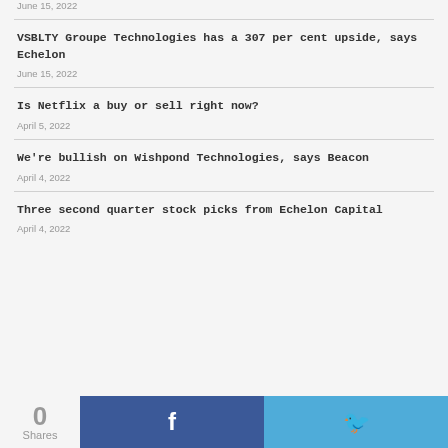June 15, 2022
VSBLTY Groupe Technologies has a 307 per cent upside, says Echelon
June 15, 2022
Is Netflix a buy or sell right now?
April 5, 2022
We're bullish on Wishpond Technologies, says Beacon
April 4, 2022
Three second quarter stock picks from Echelon Capital
April 4, 2022
0 Shares